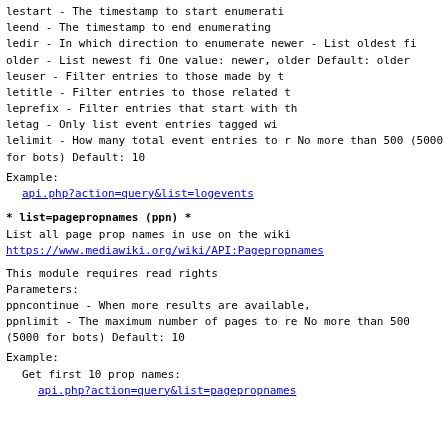lestart   - The timestamp to start enumerati...
leend     - The timestamp to end enumerating
ledir     - In which direction to enumerate
  newer  - List oldest fi...
  older  - List newest fi...
One value: newer, older
Default: older
leuser    - Filter entries to those made by t...
letitle   - Filter entries to those related t...
leprefix  - Filter entries that start with th...
letag     - Only list event entries tagged wi...
lelimit   - How many total event entries to r...
No more than 500 (5000 for bots)
Default: 10
Example:
api.php?action=query&list=logevents
* list=pagepropnames (ppn) *
List all page prop names in use on the wiki
https://www.mediawiki.org/wiki/API:Pagepropnames
This module requires read rights
Parameters:
ppncontinue  - When more results are available,...
ppnlimit     - The maximum number of pages to re...
No more than 500 (5000 for bots)
Default: 10
Example:
Get first 10 prop names:
api.php?action=query&list=pagepropnames